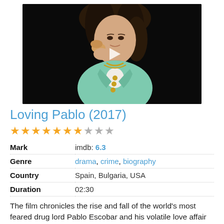[Figure (photo): Movie thumbnail/poster for Loving Pablo (2017) showing a woman in a teal/mint jacket with dark hair, posing with hand near chin, against a black background. A play button triangle is visible in the upper center.]
Loving Pablo (2017)
★★★★★★★☆★★ (7 out of 10 stars rating)
| Field | Value |
| --- | --- |
| Mark | imdb: 6.3 |
| Genre | drama, crime, biography |
| Country | Spain, Bulgaria, USA |
| Duration | 02:30 |
The film chronicles the rise and fall of the world's most feared drug lord Pablo Escobar and his volatile love affair with Colombia's most famous journalist Virginia Vallejo throughout a reign of terror that